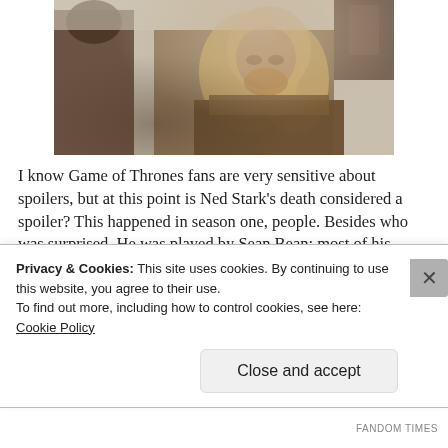[Figure (photo): A man with long blonde hair looking downward, wearing medieval-style leather armor, in a dark cinematic scene. Appears to be Ned Stark from Game of Thrones.]
I know Game of Thrones fans are very sensitive about spoilers, but at this point is Ned Stark's death considered a spoiler? This happened in season one, people. Besides who was surprised. He was played by Sean Bean: most of his characters die! Who couldn't love the loveable Ned Stark, most famous brave...
Privacy & Cookies: This site uses cookies. By continuing to use this website, you agree to their use.
To find out more, including how to control cookies, see here: Cookie Policy
Close and accept